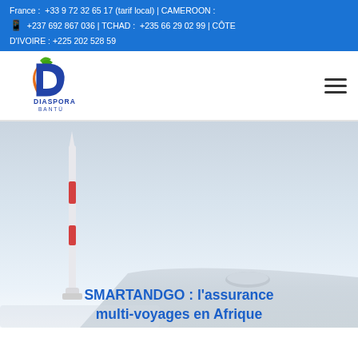France : +33 9 72 32 65 17 (tarif local) | CAMEROON : 📱 +237 692 867 036 | TCHAD : +235 66 29 02 99 | CÔTE D'IVOIRE : +225 202 528 59
[Figure (logo): Diaspora Bantü logo — a stylized D letter with green leaf on top and orange lower arc, with text DIASPORA BANTÜ below in blue]
[Figure (photo): Aerial view of an airplane wing and engine against a hazy sky background, with a tall antenna or rocket tower on the left side]
SMARTANDGO : l'assurance multi-voyages en Afrique